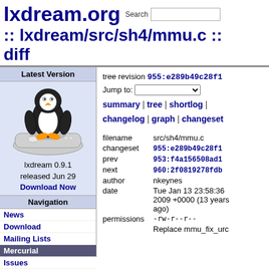lxdream.org :: lxdream/src/sh4/mmu.c :: diff
[Figure (screenshot): Screenshot of lxdream.org website showing file diff page for lxdream/src/sh4/mmu.c with navigation panel on left and file metadata on right]
tree revision 955:e289b49c28f1
Jump to:
summary | tree | shortlog | changelog | graph | changeset
filename	src/sh4/mmu.c
changeset	955:e289b49c28f1
prev	953:f4a156508ad1
next	960:2f0819278fdb
author	nkeynes
date	Tue Jan 13 23:58:36 2009 +0000 (13 years ago)
permissions	-rw-r--r--
Replace mmu_fix_urc
Latest Version
lxdream 0.9.1 released Jun 29
Download Now
Navigation
News
Download
Mailing Lists
Mercurial
Issues
Dreamcast Wiki